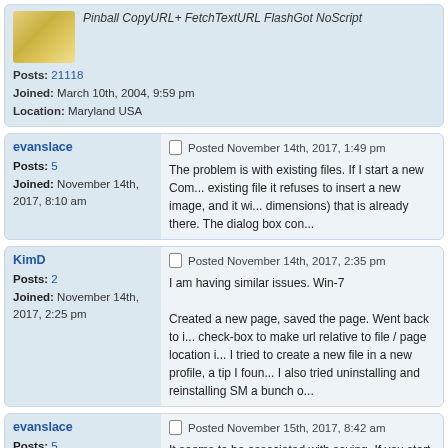[Figure (other): Forum avatar image - yellow/gold colored image]
Pinball CopyURL+ FetchTextURL FlashGot NoScript
Posts: 21118
Joined: March 10th, 2004, 9:59 pm
Location: Maryland USA
evanslace
Posted November 14th, 2017, 1:49 pm
Posts: 5
Joined: November 14th, 2017, 8:10 am
The problem is with existing files. If I start a new Com... existing file it refuses to insert a new image, and it wi... dimensions) that is already there. The dialog box con...
KimD
Posted November 14th, 2017, 2:35 pm
Posts: 2
Joined: November 14th, 2017, 2:25 pm
I am having similar issues. Win-7

Created a new page, saved the page. Went back to i... check-box to make url relative to file / page location i... I tried to create a new file in a new profile, a tip I foun... I also tried uninstalling and reinstalling SM a bunch o...
evanslace
Posted November 15th, 2017, 8:42 am
Posts: 5
Joined: November 14th, 2017, 8:10 am
It seems to be associated with saving. If you start wit... save it. Then it refuses to insert or edit an image.